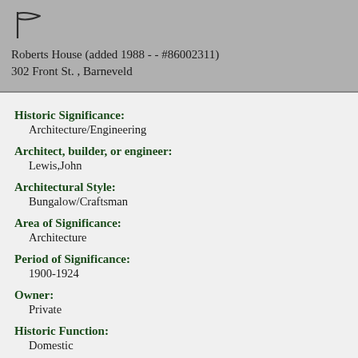[Figure (logo): Small flag/pennant icon in dark color]
Roberts House (added 1988 - - #86002311)
302 Front St. , Barneveld
Historic Significance:
Architecture/Engineering
Architect, builder, or engineer:
Lewis,John
Architectural Style:
Bungalow/Craftsman
Area of Significance:
Architecture
Period of Significance:
1900-1924
Owner:
Private
Historic Function:
Domestic